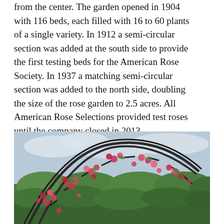from the center. The garden opened in 1904 with 116 beds, each filled with 16 to 60 plants of a single variety. In 1912 a semi-circular section was added at the south side to provide the first testing beds for the American Rose Society. In 1937 a matching semi-circular section was added to the north side, doubling the size of the rose garden to 2.5 acres. All American Rose Selections provided test roses until the company closed in 2013.
By 1911 people came from all around to visit the rose garden, and, according to the Elizabeth Park Conservancy, “a large manufacturer of postcards” sold more postcards of Elizabeth Park that year than of any other garden or park in the country.
[Figure (photo): Photograph of Elizabeth Park rose garden showing a curved metal trellis arch with climbing pink roses, green hedges, and an overcast sky in the background.]